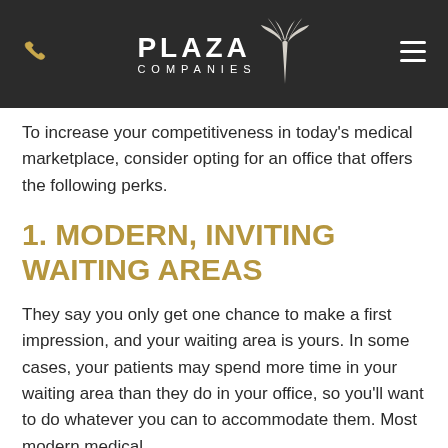[Figure (logo): Plaza Companies logo with palm tree graphic on dark background, phone icon left, hamburger menu icon right]
To increase your competitiveness in today's medical marketplace, consider opting for an office that offers the following perks.
1. MODERN, INVITING WAITING AREAS
They say you only get one chance to make a first impression, and your waiting area is yours. In some cases, your patients may spend more time in your waiting area than they do in your office, so you'll want to do whatever you can to accommodate them. Most modern medical